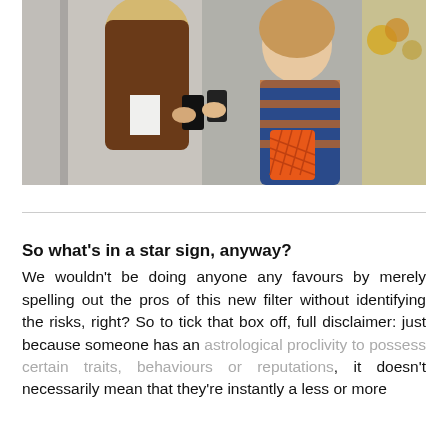[Figure (photo): Two women looking at a smartphone together outdoors. The woman on the left has long blonde hair and wears a brown teddy coat; the woman on the right wears a blue and orange plaid coat and holds an orange lattice handbag. They are smiling and looking at a phone screen.]
So what's in a star sign, anyway?
We wouldn't be doing anyone any favours by merely spelling out the pros of this new filter without identifying the risks, right? So to tick that box off, full disclaimer: just because someone has an astrological proclivity to possess certain traits, behaviours or reputations, it doesn't necessarily mean that they're instantly a less or more